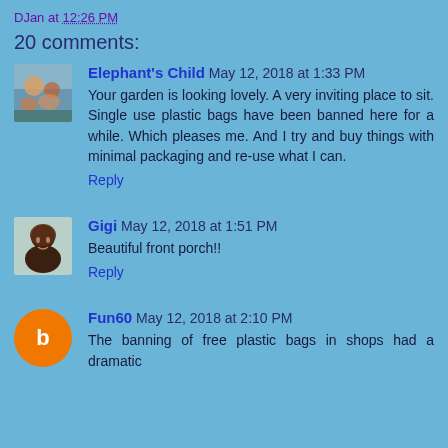DJan at 12:26 PM
20 comments:
Elephant's Child  May 12, 2018 at 1:33 PM
Your garden is looking lovely. A very inviting place to sit. Single use plastic bags have been banned here for a while. Which pleases me. And I try and buy things with minimal packaging and re-use what I can.
Reply
Gigi  May 12, 2018 at 1:51 PM
Beautiful front porch!!
Reply
Fun60  May 12, 2018 at 2:10 PM
The banning of free plastic bags in shops had a dramatic